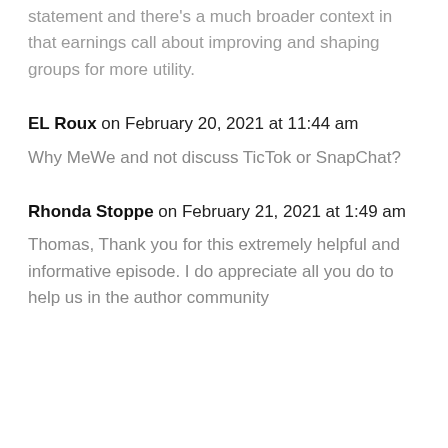statement and there's a much broader context in that earnings call about improving and shaping groups for more utility.
EL Roux on February 20, 2021 at 11:44 am
Why MeWe and not discuss TicTok or SnapChat?
Rhonda Stoppe on February 21, 2021 at 1:49 am
Thomas, Thank you for this extremely helpful and informative episode. I do appreciate all you do to help us in the author community